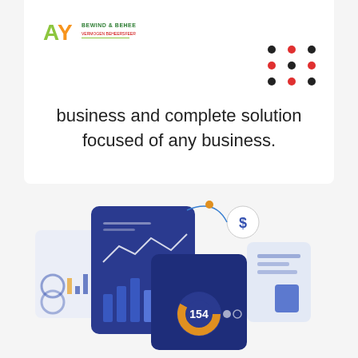[Figure (logo): AY Bewind & Beheer company logo, green and yellow letters with red text underneath]
[Figure (infographic): 3x3 dot grid pattern in dark and red colors, decorative element in top right]
business and complete solution focused of any business.
[Figure (illustration): Business analytics illustration showing dashboard cards with charts, donut chart showing 154, bar charts, line graphs, and a dollar sign circle, in blue, navy, and gold colors]